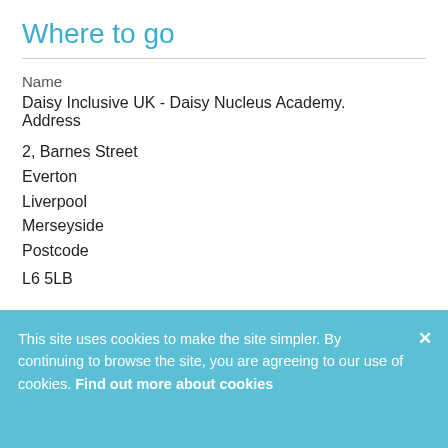Where to go
Name
Daisy Inclusive UK - Daisy Nucleus Academy.
Address
2, Barnes Street
Everton
Liverpool
Merseyside
Postcode
L6 5LB
This site uses cookies to make the site simpler. By continuing to browse the site, you are agreeing to our use of cookies. Find out more about cookies